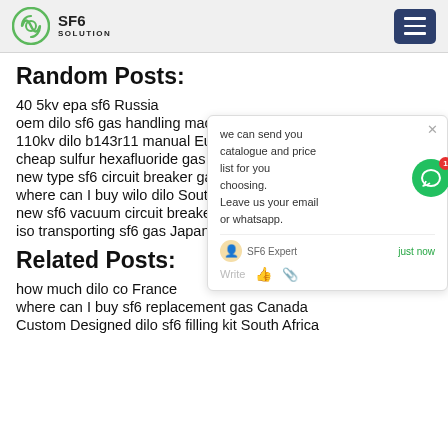SF6 SOLUTION
Random Posts:
40 5kv epa sf6 Russia
oem dilo sf6 gas handling machine price
110kv dilo b143r11 manual Europe
cheap sulfur hexafluoride gas buy Malaysia
new type sf6 circuit circuit breaker gas pressure
where can I buy wilo dilo South Africa
new sf6 vacuum circuit breaker Egypt
iso transporting sf6 gas Japan
Related Posts:
how much dilo co France
where can I buy sf6 replacement gas Canada
Custom Designed dilo sf6 filling kit South Africa